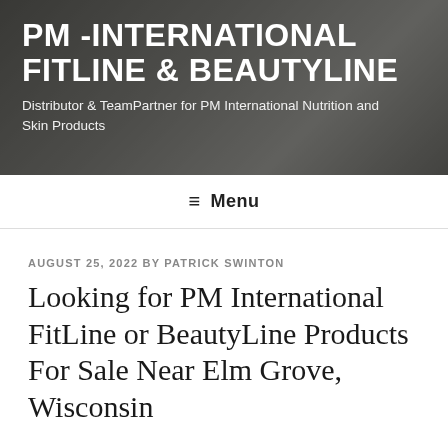PM -INTERNATIONAL FITLINE & BEAUTYLINE
Distributor & TeamPartner for PM International Nutrition and Skin Products
≡ Menu
AUGUST 25, 2022 BY PATRICK SWINTON
Looking for PM International FitLine or BeautyLine Products For Sale Near Elm Grove, Wisconsin
Experience smoother and more balanced skin as well
as firmer contours with the new CC-Cel-Plus
Lotion